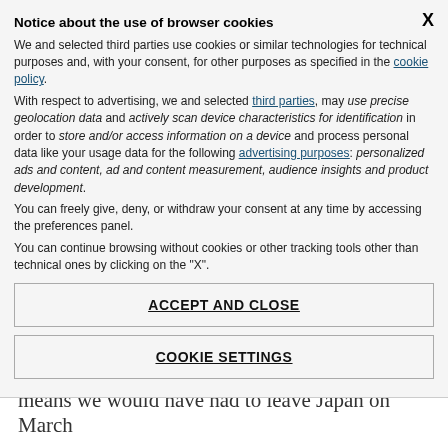Notice about the use of browser cookies
We and selected third parties use cookies or similar technologies for technical purposes and, with your consent, for other purposes as specified in the cookie policy. With respect to advertising, we and selected third parties, may use precise geolocation data and actively scan device characteristics for identification in order to store and/or access information on a device and process personal data like your usage data for the following advertising purposes: personalized ads and content, ad and content measurement, audience insights and product development. You can freely give, deny, or withdraw your consent at any time by accessing the preferences panel. You can continue browsing without cookies or other tracking tools other than technical ones by clicking on the "X".
ACCEPT AND CLOSE
COOKIE SETTINGS
means we would have had to leave Japan on March